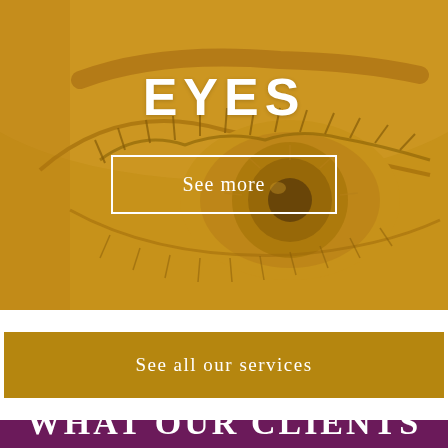[Figure (photo): Close-up photo of a human eye with golden-amber iris, with a golden/amber color overlay on the entire image. The eye shows detailed eyelashes and is rendered in warm ochre tones.]
EYES
See more
See all our services
WHAT OUR CLIENTS